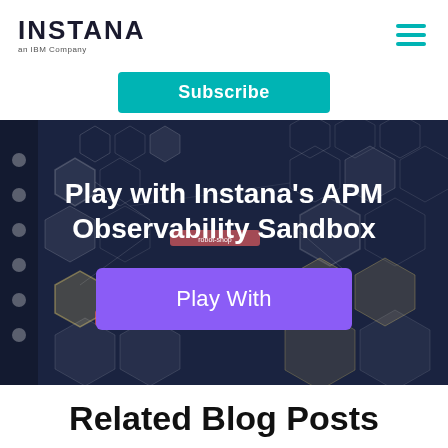INSTANA an IBM Company
Subscribe
[Figure (screenshot): Instana APM Observability Sandbox banner with dark blue hexagonal network background, white bold title 'Play with Instana's APM Observability Sandbox', and a purple 'Play With' button]
Related Blog Posts